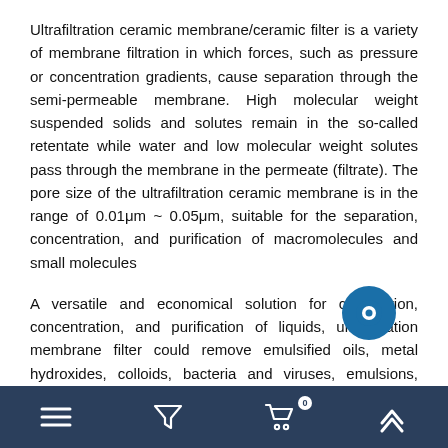Ultrafiltration ceramic membrane/ceramic filter is a variety of membrane filtration in which forces, such as pressure or concentration gradients, cause separation through the semi-permeable membrane. High molecular weight suspended solids and solutes remain in the so-called retentate while water and low molecular weight solutes pass through the membrane in the permeate (filtrate). The pore size of the ultrafiltration ceramic membrane is in the range of 0.01μm ~ 0.05μm, suitable for the separation, concentration, and purification of macromolecules and small molecules
A versatile and economical solution for clarification, concentration, and purification of liquids, ultrafiltration membrane filter could remove emulsified oils, metal hydroxides, colloids, bacteria and viruses, emulsions, dispersed material, suspended solids, and other large molecular weight materials from water and other solutions. Ultrafiltration ceramic membrane also serves in critical parts of the production processes of fruit juice, milk and whey, coatings, metal minerals, poly-vinyl alcohol, and indigo dye industries to enhance treatment for potable uses and